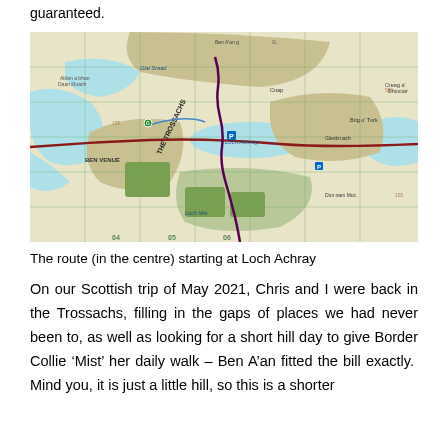guaranteed.
[Figure (map): Ordnance Survey style topographic map of the Trossachs area in Scotland, showing Loch Achray in the centre, Ben Venue to the left, and a walking route marked in dark red/purple. The route starts near Loch Achray and heads south through hilly terrain. Green grid lines overlay the map. Place names visible include Ben Venue, Loch Achray, The Trossachs, Brig o' Turk, Glenbruach, and various Gaelic hill names.]
The route (in the centre) starting at Loch Achray
On our Scottish trip of May 2021, Chris and I were back in the Trossachs, filling in the gaps of places we had never been to, as well as looking for a short hill day to give Border Collie ‘Mist’ her daily walk – Ben A’an fitted the bill exactly.  Mind you, it is just a little hill, so this is a shorter